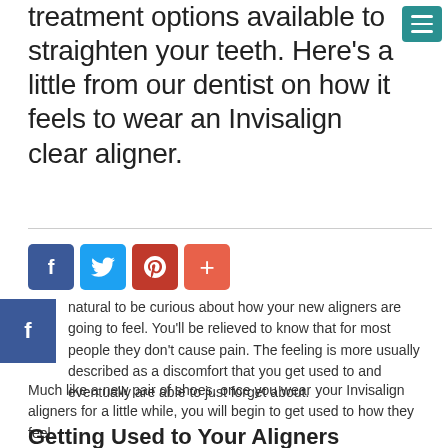treatment options available to straighten your teeth. Here's a little from our dentist on how it feels to wear an Invisalign clear aligner.
[Figure (infographic): Teal/green hamburger menu button in top right corner]
[Figure (infographic): Social share buttons row: Facebook (dark blue, f), Twitter (light blue, bird icon), Pinterest (red, p icon), Plus/share (coral, + icon), and a sidebar Facebook button on the left]
natural to be curious about how your new aligners are going to feel. You'll be relieved to know that for most people they don't cause pain. The feeling is more usually described as a discomfort that you get used to and eventually are able to just forget about.
Much like a new pair of shoes, once you wear your Invisalign aligners for a little while, you will begin to get used to how they feel.
Getting Used to Your Aligners